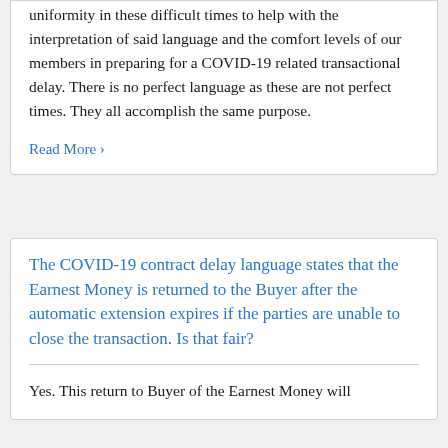uniformity in these difficult times to help with the interpretation of said language and the comfort levels of our members in preparing for a COVID-19 related transactional delay. There is no perfect language as these are not perfect times. They all accomplish the same purpose.
Read More ›
The COVID-19 contract delay language states that the Earnest Money is returned to the Buyer after the automatic extension expires if the parties are unable to close the transaction. Is that fair?
Yes. This return to Buyer of the Earnest Money will